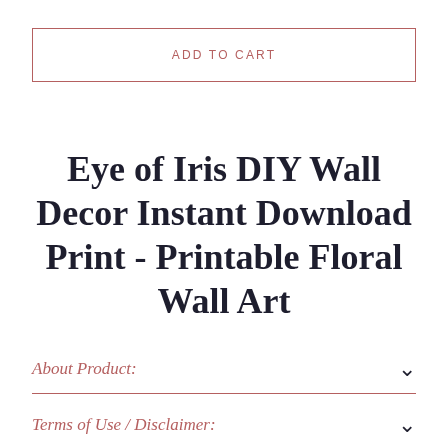ADD TO CART
Eye of Iris DIY Wall Decor Instant Download Print - Printable Floral Wall Art
About Product:
Terms of Use / Disclaimer: